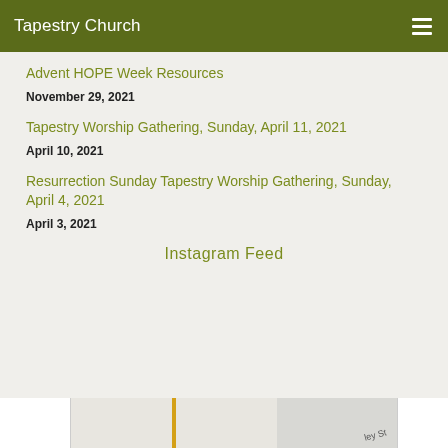Tapestry Church
Advent HOPE Week Resources
November 29, 2021
Tapestry Worship Gathering, Sunday, April 11, 2021
April 10, 2021
Resurrection Sunday Tapestry Worship Gathering, Sunday, April 4, 2021
April 3, 2021
Instagram Feed
[Figure (map): Partial map strip at the bottom of the page showing street layout with a yellow road marker and street label]